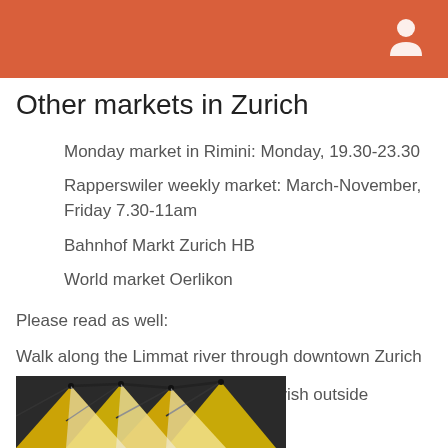Other markets in Zurich
Monday market in Rimini: Monday, 19.30-23.30
Rapperswiler weekly market: March-November, Friday 7.30-11am
Bahnhof Markt Zurich HB
World market Oerlikon
Please read as well:
Walk along the Limmat river through downtown Zurich
Irish Coffee - when its cold and greyish outside
[Figure (photo): Market scene with yellow and white umbrella canopies viewed from below against a dark background]